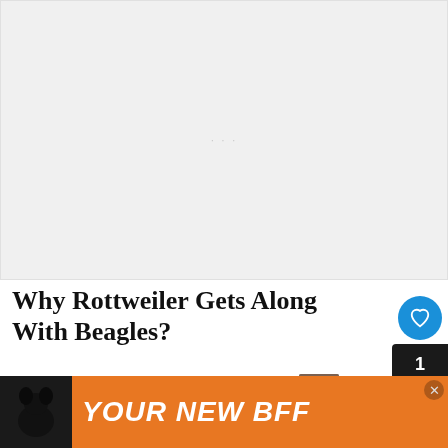[Figure (other): Gray placeholder advertisement banner at top of page]
Why Rottweiler Gets Along With Beagles?
Excitable and amiable, Beagles are scent hounds of small size. The even-tempered Beagles know how to hunt, and it prefers having some...
[Figure (other): Bottom orange advertisement banner reading YOUR NEW BFF with a dog image]
[Figure (other): What's Next overlay showing 10 Dog Breeds with dog thumbnail, heart button showing count 1, and share button]